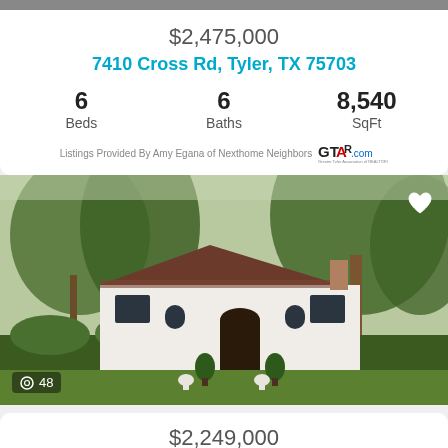$2,475,000
7410 Cross Rd, Tyler, TX 75703
| Beds | Baths | SqFt |
| --- | --- | --- |
| 6 | 6 | 8,540 |
Listings Provided By Amy Egana of Nexthome Neighbors
[Figure (photo): Exterior photo of a large white Spanish-style house with tile roof surrounded by mature oak trees, green lawn and hedges. Shows camera icon with 48 photos indicator.]
$2,249,000
1000 S Chilton Ave, Tyler, TX 75701